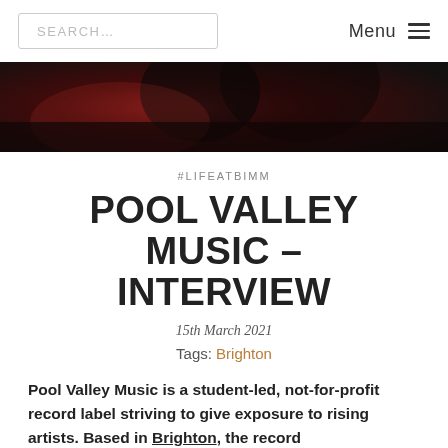SEARCH... | Menu
[Figure (photo): Dark moody hero image with red tones, showing a silhouetted person or musician against a dark background with red lighting]
#LIFEATBIMM
POOL VALLEY MUSIC – INTERVIEW
15th March 2021
Tags: Brighton
Pool Valley Music is a student-led, not-for-profit record label striving to give exposure to rising artists. Based in Brighton, the record